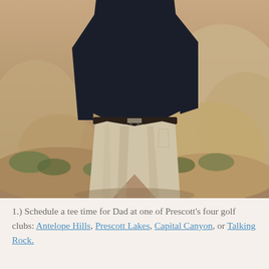[Figure (photo): A person wearing a dark navy shirt and light khaki/beige pants standing on rocky terrain with boulders and desert shrubs in the background. Only the torso and lower body are visible.]
1.) Schedule a tee time for Dad at one of Prescott's four golf clubs: Antelope Hills, Prescott Lakes, Capital Canyon, or Talking Rock.